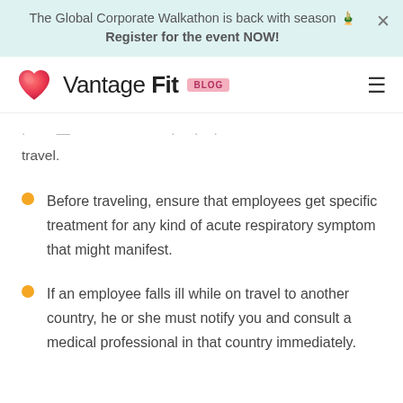The Global Corporate Walkathon is back with season 🏅 Register for the event NOW!
[Figure (logo): Vantage Fit Blog logo with heart icon]
travel.
Before traveling, ensure that employees get specific treatment for any kind of acute respiratory symptom that might manifest.
If an employee falls ill while on travel to another country, he or she must notify you and consult a medical professional in that country immediately.